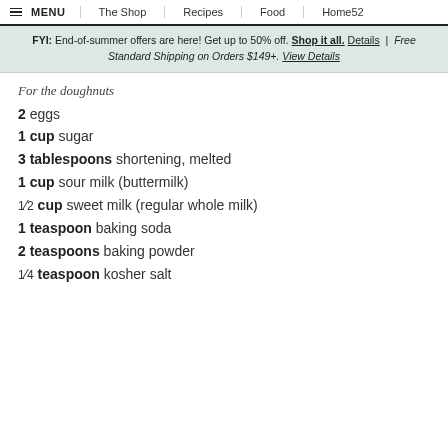MENU | The Shop | Recipes | Food | Home52
FYI: End-of-summer offers are here! Get up to 50% off. Shop it all. Details | Free Standard Shipping on Orders $149+. View Details
For the doughnuts
2 eggs
1 cup sugar
3 tablespoons shortening, melted
1 cup sour milk (buttermilk)
1/2 cup sweet milk (regular whole milk)
1 teaspoon baking soda
2 teaspoons baking powder
1/4 teaspoon kosher salt